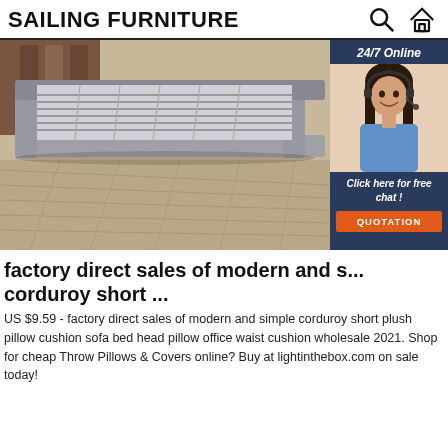SAILING FURNITURE
[Figure (photo): Gray upholstered bed frame with wooden slats visible, no mattress, on light wood floor. Overlaid with a customer service chat widget showing a woman with headset, '24/7 Online' text, 'Click here for free chat!' and an orange QUOTATION button.]
factory direct sales of modern and s... corduroy short ...
US $9.59 - factory direct sales of modern and simple corduroy short plush pillow cushion sofa bed head pillow office waist cushion wholesale 2021. Shop for cheap Throw Pillows & Covers online? Buy at lightinthebox.com on sale today!